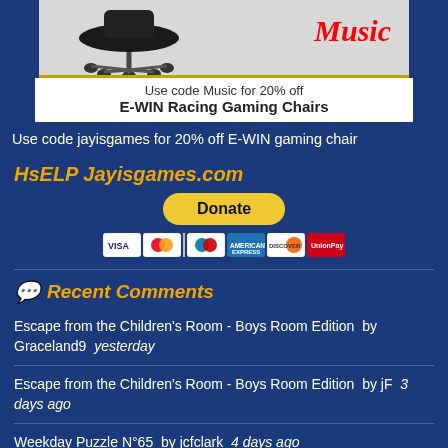[Figure (photo): Gaming chair product photo with 'Music' text in red italic, part of an E-WIN Racing advertisement]
Use code Music for 20% off E-WIN Racing Gaming Chairs
Use code jayisgames for 20% off E-WIN gaming chair
HsELP Jayisgames.com
[Figure (other): PayPal Donate button with credit card icons (Visa, Mastercard, Maestro, American Express, Discover, and another card)]
Recent Comments
Escape from the Children's Room - Boys Room Edition by Graceland9 yesterday
Escape from the Children's Room - Boys Room Edition by jF 3 days ago
Weekday Puzzle N°65 by jcfclark 4 days ago